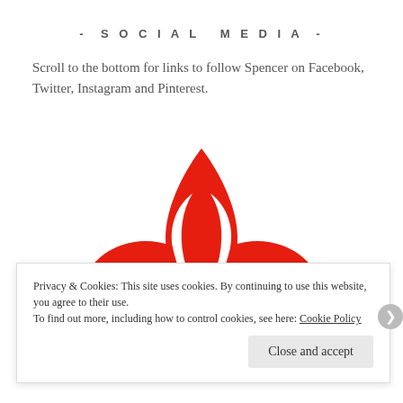- SOCIAL MEDIA -
Scroll to the bottom for links to follow Spencer on Facebook, Twitter, Instagram and Pinterest.
[Figure (logo): Red fleur-de-lis style logo with three petal shapes — a tall pointed teardrop in the center flanked by two rounded petals on each side, all in solid red.]
Privacy & Cookies: This site uses cookies. By continuing to use this website, you agree to their use.
To find out more, including how to control cookies, see here: Cookie Policy
Close and accept